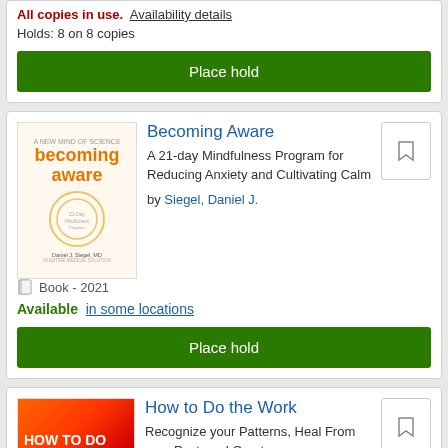All copies in use. Availability details
Holds: 8 on 8 copies
Place hold
Becoming Aware
A 21-day Mindfulness Program for Reducing Anxiety and Cultivating Calm
by Siegel, Daniel J.
Book - 2021
Available in some locations
Place hold
How to Do the Work
Recognize your Patterns, Heal From your Past, and Create your